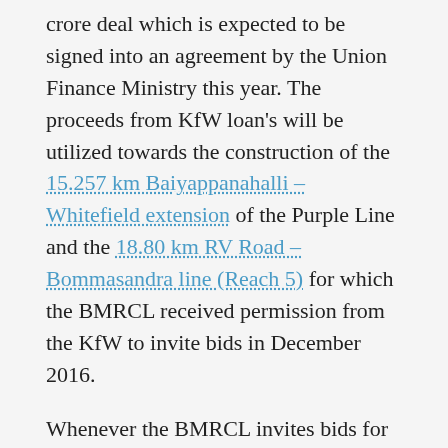crore deal which is expected to be signed into an agreement by the Union Finance Ministry this year. The proceeds from KfW loan's will be utilized towards the construction of the 15.257 km Baiyappanahalli – Whitefield extension of the Purple Line and the 18.80 km RV Road – Bommasandra line (Reach 5) for which the BMRCL received permission from the KfW to invite bids in December 2016.
Whenever the BMRCL invites bids for the Gottigere – Nagawara line (Reach 6) and any technical system of Phase 2, that'll be a good sign of the BMRCL concluding its new loan deals to finally achieve financial closure of the project.
For more updates, check out the Bangalore section of The Metro Rail Guy!
– TMRG